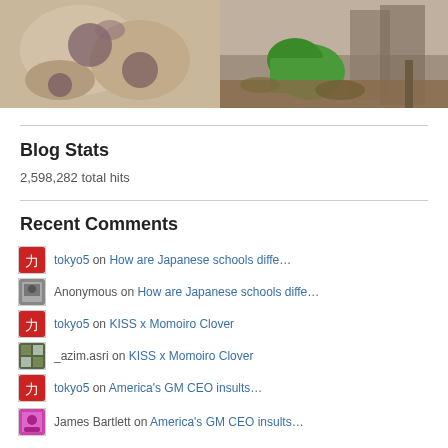[Figure (photo): Two photos side by side: left shows textured bark/stone surface with purple markings, right shows a green bucket/container overturned near rocks and soil with plants]
Blog Stats
2,598,282 total hits
Recent Comments
tokyo5 on How are Japanese schools diffe…
Anonymous on How are Japanese schools diffe…
tokyo5 on KISS x Momoiro Clover
_azim.asri on KISS x Momoiro Clover
tokyo5 on America's GM CEO insults…
James Bartlett on America's GM CEO insults…